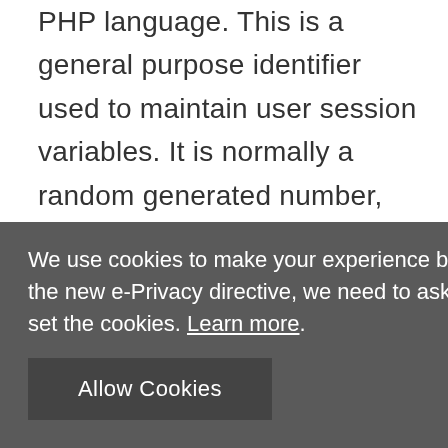PHP language. This is a general purpose identifier used to maintain user session variables. It is normally a random generated number, how it is used can be specific to the site, but a good example is maintaining a logged-in status for a user
We use cookies to make your experience better. To comply with the new e-Privacy directive, we need to ask for your consent to set the cookies. Learn more.
Allow Cookies